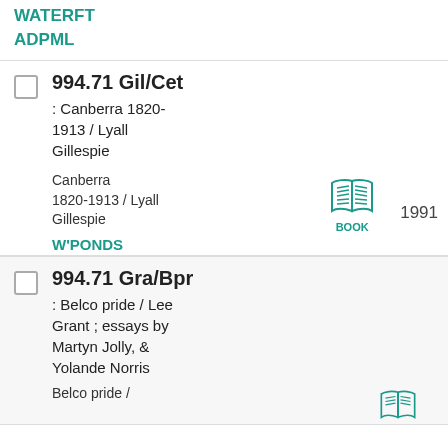WATERFT
ADPML
994.71 Gil/Cet : Canberra 1820-1913 / Lyall Gillespie — Canberra 1820-1913 / Lyall Gillespie — BOOK — 1991 — W'PONDS
994.71 Gra/Bpr : Belco pride / Lee Grant ; essays by Martyn Jolly, & Yolande Norris — Belco pride /